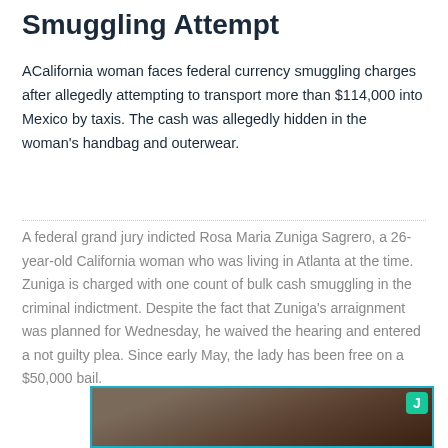Smuggling Attempt
ACalifornia woman faces federal currency smuggling charges after allegedly attempting to transport more than $114,000 into Mexico by taxis. The cash was allegedly hidden in the woman's handbag and outerwear.
A federal grand jury indicted Rosa Maria Zuniga Sagrero, a 26-year-old California woman who was living in Atlanta at the time. Zuniga is charged with one count of bulk cash smuggling in the criminal indictment. Despite the fact that Zuniga's arraignment was planned for Wednesday, he waived the hearing and entered a not guilty plea. Since early May, the lady has been free on a $50,000 bail.
[Figure (photo): Photo of person related to the smuggling case, with a teal/green badge overlay in the top-right corner.]